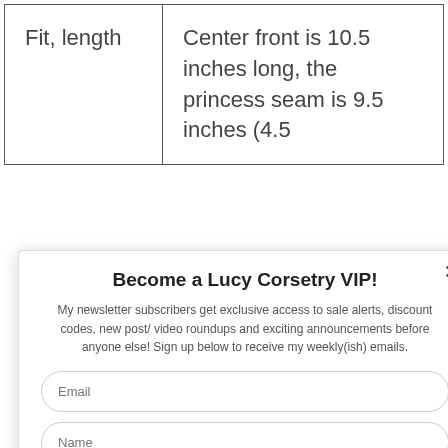| Fit, length | Center front is 10.5 inches long, the princess seam is 9.5 inches (4.5 |
Become a Lucy Corsetry VIP!
My newsletter subscribers get exclusive access to sale alerts, discount codes, new post/ video roundups and exciting announcements before anyone else! Sign up below to receive my weekly(ish) emails.
Email
Name
Opt in to receive news and updates.
SUBSCRIBE